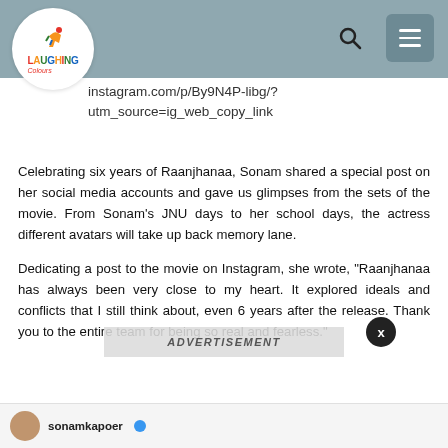Laughing Colours
instagram.com/p/By9N4P-libg/?utm_source=ig_web_copy_link
Celebrating six years of Raanjhanaa, Sonam shared a special post on her social media accounts and gave us glimpses from the sets of the movie. From Sonam's JNU days to her school days, the actress different avatars will take up back memory lane.
Dedicating a post to the movie on Instagram, she wrote, "Raanjhanaa has always been very close to my heart. It explored ideals and conflicts that I still think about, even 6 years after the release. Thank you to the entire team for being so real and fearless."
ADVERTISEMENT
sonamkapoer